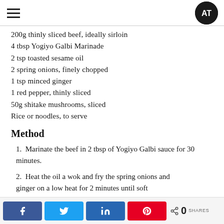≡  AT logo
200g thinly sliced beef, ideally sirloin
4 tbsp Yogiyo Galbi Marinade
2 tsp toasted sesame oil
2 spring onions, finely chopped
1 tsp minced ginger
1 red pepper, thinly sliced
50g shitake mushrooms, sliced
Rice or noodles, to serve
Method
1.  Marinate the beef in 2 tbsp of Yogiyo Galbi sauce for 30 minutes.
2.  Heat the oil a wok and fry the spring onions and ginger on a low heat for 2 minutes until soft
Share buttons: Facebook, Twitter, LinkedIn, Pinterest | 0 SHARES